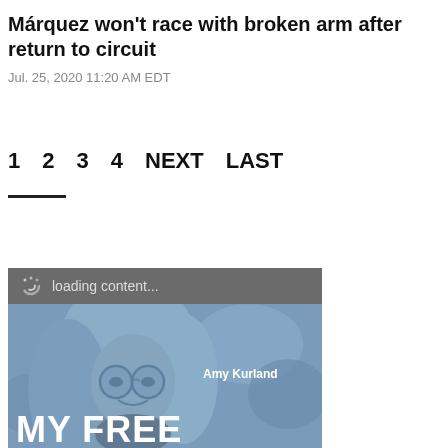Márquez won't race with broken arm after return to circuit
Jul. 25, 2020 11:20 AM EDT
1   2   3   4   NEXT   LAST
[Figure (photo): Advertisement image showing a woman with glasses and long blonde hair with text 'Amy Kurland' and 'MY FREE', with a loading content spinner bar at top.]